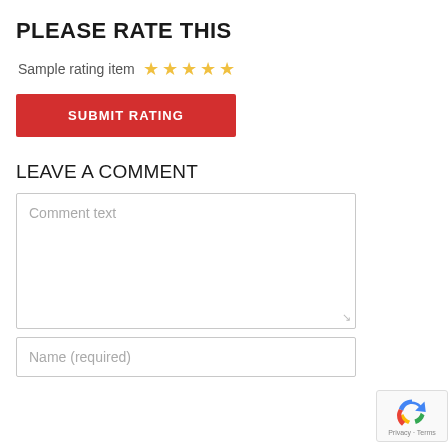PLEASE RATE THIS
Sample rating item ☆☆☆☆☆
SUBMIT RATING
LEAVE A COMMENT
Comment text
Name (required)